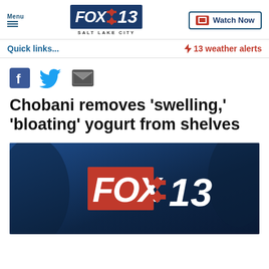Menu | FOX 13 SALT LAKE CITY | Watch Now
Quick links... | ⚡ 13 weather alerts
[Figure (screenshot): Social share icons: Facebook, Twitter, Email]
Chobani removes 'swelling,' 'bloating' yogurt from shelves
[Figure (screenshot): FOX 13 news video thumbnail with dark blue studio background and FOX 13 logo]